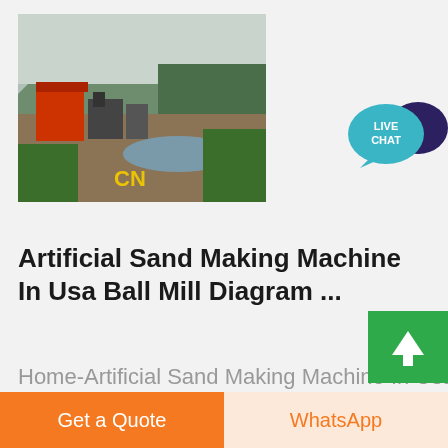[Figure (photo): Aerial/ground view of an industrial sand making or mining facility with machinery, a red building, green vegetation, mountains in background, and 'CN' watermark in yellow]
[Figure (infographic): Live Chat button — teal speech bubble with white text 'LIVE CHAT' and a dark navy overlapping bubble]
Artificial Sand Making Machine In Usa Ball Mill Diagram ...
Home-Artificial Sand Making Machine In Usa Ball Mill Diagram With Vibrator Artificial Sand Machine Low Price In Tamilnadu We are a
[Figure (other): Green scroll-to-top button with white upward arrow]
Get a Quote
WhatsApp